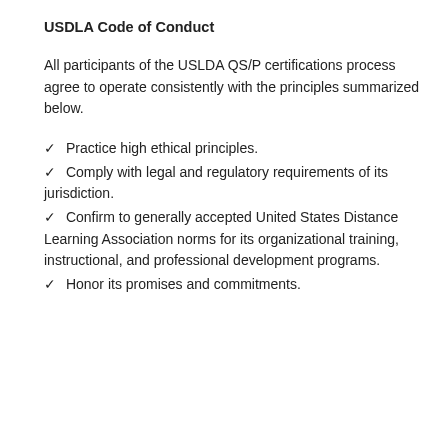USDLA Code of Conduct
All participants of the USLDA QS/P certifications process agree to operate consistently with the principles summarized below.
✓ Practice high ethical principles.
✓ Comply with legal and regulatory requirements of its jurisdiction.
✓ Confirm to generally accepted United States Distance Learning Association norms for its organizational training, instructional, and professional development programs.
✓ Honor its promises and commitments.